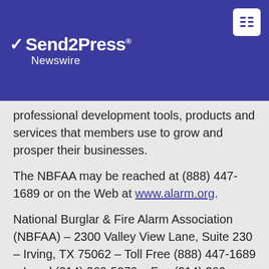[Figure (logo): Send2Press Newswire logo in white text on dark blue/indigo header bar with lightning bolt icon]
professional development tools, products and services that members use to grow and prosper their businesses.
The NBFAA may be reached at (888) 447-1689 or on the Web at www.alarm.org.
National Burglar & Fire Alarm Association (NBFAA) – 2300 Valley View Lane, Suite 230 – Irving, TX 75062 – Toll Free (888) 447-1689 – Local (214) 260-5970 – Fax (214) 260-5979.
News issued by: National Burglar and Fire